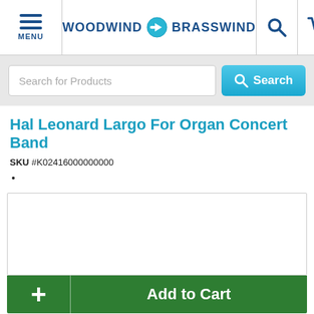WOODWIND BRASSWIND
[Figure (screenshot): Search bar with placeholder text 'Search for Products' and a blue Search button]
Hal Leonard Largo For Organ Concert Band
SKU  #K02416000000000
•
[Figure (other): Empty white product image box with border]
+ Add to Cart